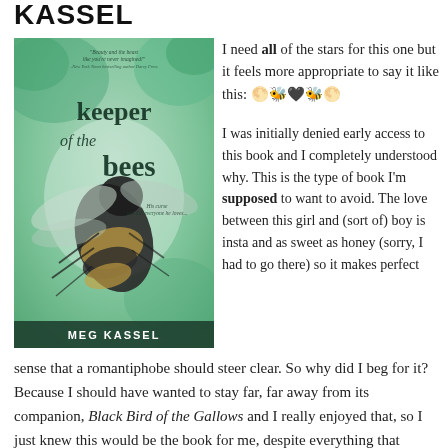KASSEL
[Figure (photo): Book cover of 'Keeper of the Bees' by Meg Kassel, featuring a large bee on a green watercolor background with the text 'Beauty and the beast like you've never imagined!' - New York Times bestselling author Darcy Press]
I need all of the stars for this one but it feels more appropriate to say it like this: 🌕🐝🖤🐝🌕
I was initially denied early access to this book and I completely understood why. This is the type of book I'm supposed to want to avoid. The love between this girl and (sort of) boy is insta and as sweet as honey (sorry, I had to go there) so it makes perfect sense that a romantiphobe should steer clear. So why did I beg for it? Because I should have wanted to stay far, far away from its companion, Black Bird of the Gallows and I really enjoyed that, so I just knew this would be the book for me, despite everything that